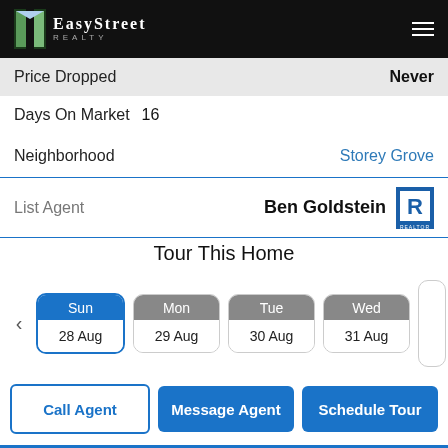EasyStreet Realty
Price Dropped   Never
Days On Market  16
Neighborhood    Storey Grove
List Agent   Ben Goldstein
Tour This Home
Sun 28 Aug | Mon 29 Aug | Tue 30 Aug | Wed 31 Aug
Call Agent | Message Agent | Schedule Tour